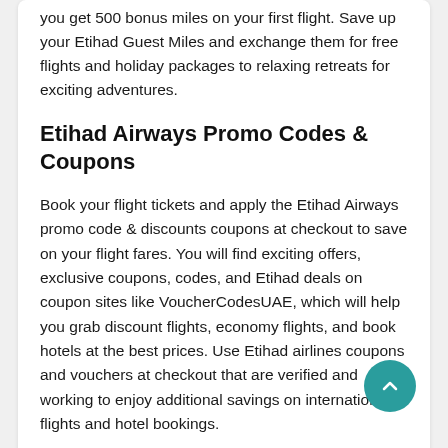you get 500 bonus miles on your first flight. Save up your Etihad Guest Miles and exchange them for free flights and holiday packages to relaxing retreats for exciting adventures.
Etihad Airways Promo Codes & Coupons
Book your flight tickets and apply the Etihad Airways promo code & discounts coupons at checkout to save on your flight fares. You will find exciting offers, exclusive coupons, codes, and Etihad deals on coupon sites like VoucherCodesUAE, which will help you grab discount flights, economy flights, and book hotels at the best prices. Use Etihad airlines coupons and vouchers at checkout that are verified and working to enjoy additional savings on international flights and hotel bookings.
Etihad Promotional Code, Deals, and Discounts